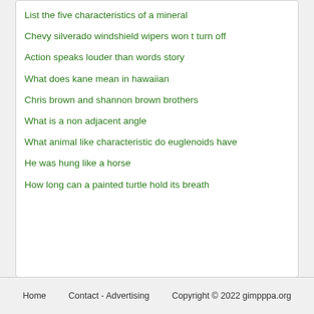List the five characteristics of a mineral
Chevy silverado windshield wipers won t turn off
Action speaks louder than words story
What does kane mean in hawaiian
Chris brown and shannon brown brothers
What is a non adjacent angle
What animal like characteristic do euglenoids have
He was hung like a horse
How long can a painted turtle hold its breath
Home   Contact - Advertising   Copyright © 2022 gimpppa.org